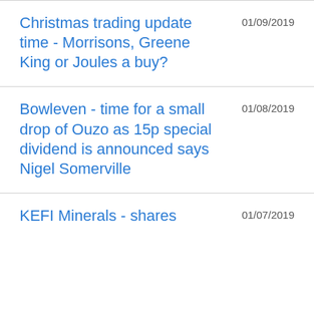Christmas trading update time - Morrisons, Greene King or Joules a buy?
Bowleven - time for a small drop of Ouzo as 15p special dividend is announced says Nigel Somerville
KEFI Minerals - shares